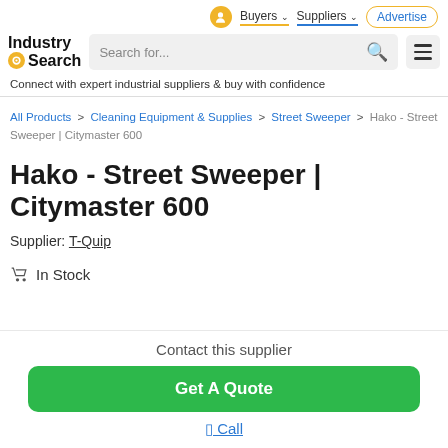Buyers   Suppliers   Advertise
[Figure (logo): IndustrySearch logo with yellow circle icon]
Connect with expert industrial suppliers & buy with confidence
All Products > Cleaning Equipment & Supplies > Street Sweeper > Hako - Street Sweeper | Citymaster 600
Hako - Street Sweeper | Citymaster 600
Supplier: T-Quip
In Stock
Contact this supplier
Get A Quote
Call